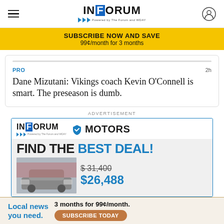INFORUM
SUBSCRIBE NOW AND SAVE
99¢/month for 3 months
PRO	2h
Dane Mizutani: Vikings coach Kevin O'Connell is smart. The preseason is dumb.
ADVERTISEMENT
[Figure (infographic): InForum Motors advertisement showing 'FIND THE BEST DEAL!' with a car image, original price $31,400 crossed out and sale price $26,488 in blue.]
Local news you need.	3 months for 99¢/month.
SUBSCRIBE TODAY